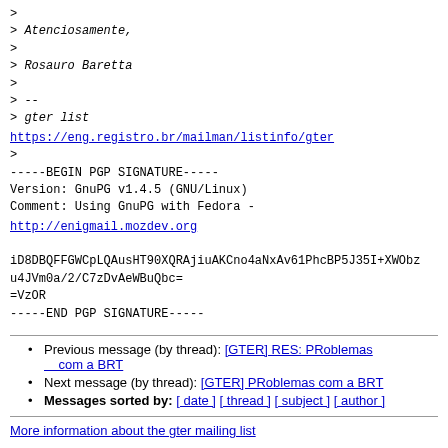> 
> Atenciosamente,
>
> Rosauro Baretta
>
> --
> gter list
https://eng.registro.br/mailman/listinfo/gter
>
-----BEGIN PGP SIGNATURE-----
Version: GnuPG v1.4.5 (GNU/Linux)
Comment: Using GnuPG with Fedora -
http://enigmail.mozdev.org

iD8DBQFFGWCpLQAusHT90XQRAjiuAKCno4aNxAv61PhcBP5J35I+XWObz
u4JVm0a/2/C7zDvAeWBuQbc=
=VzOR
-----END PGP SIGNATURE-----
Previous message (by thread): [GTER] RES: PRoblemas com a BRT
Next message (by thread): [GTER] PRoblemas com a BRT
Messages sorted by: [ date ] [ thread ] [ subject ] [ author ]
More information about the gter mailing list